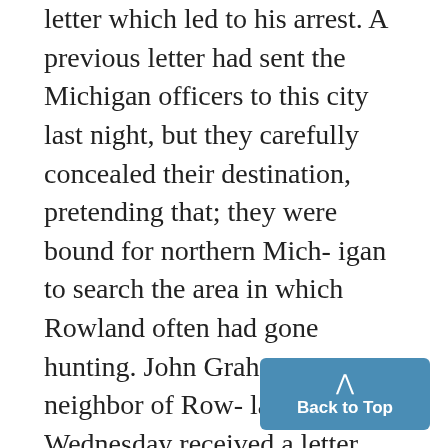letter which led to his arrest. A previous letter had sent the Michigan officers to this city last night, but they carefully concealed their destination, pretending that; they were bound for northern Michigan to search the area in which Rowland often had gone hunting. John Graham, neighbor of Rowland's, Wednesday received a letter, which asked him to deliver an inclosed message to Mrs. Rowland, who has been held in the Clare County jail since his disappearance.